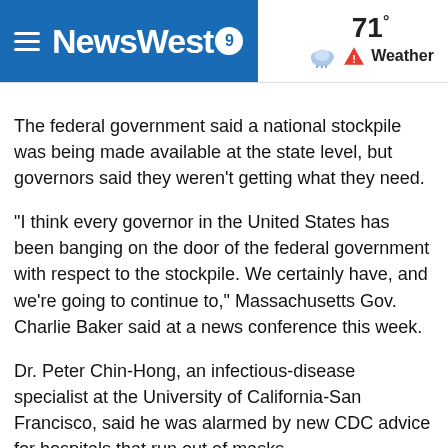NewsWest9 — 71° Weather
The federal government said a national stockpile was being made available at the state level, but governors said they weren't getting what they need.
"I think every governor in the United States has been banging on the door of the federal government with respect to the stockpile. We certainly have, and we're going to continue to," Massachusetts Gov. Charlie Baker said at a news conference this week.
Dr. Peter Chin-Hong, an infectious-disease specialist at the University of California-San Francisco, said he was alarmed by new CDC advice for hospitals that run out of masks.
“For the CDC to say people can wear bandanas is actually quite frightening,” he said. “I never thought the CDC would say something like that. We’re in the United States of America in 2020, and we have a recommendation to use bandanas?”